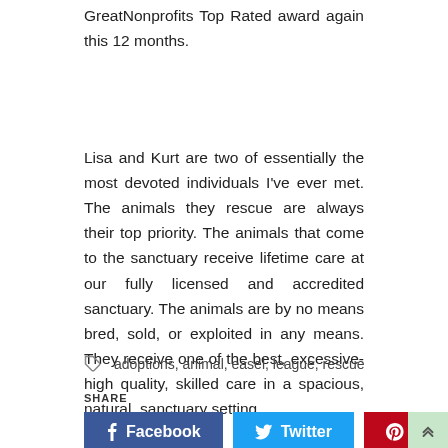GreatNonprofits Top Rated award again this 12 months.
Lisa and Kurt are two of essentially the most devoted individuals I've ever met. The animals they rescue are always their top priority. The animals that come to the sanctuary receive lifetime care at our fully licensed and accredited sanctuary. The animals are by no means bred, sold, or exploited in any means. They receive one of the best, excessive-high quality, skilled care in a spacious, natural, sanctuary setting.
adoptions, animal, easel, league, rescue
SHARE
Facebook
Twitter
Pinterest